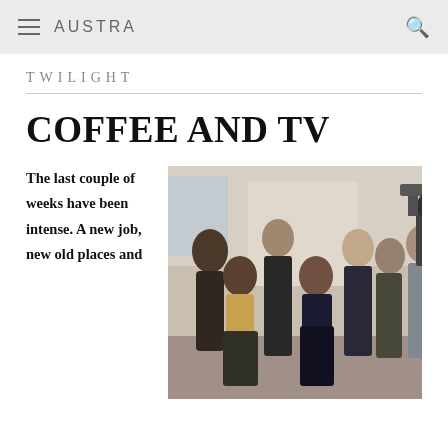AUSTRA
TWILIGHT
COFFEE AND TV
The last couple of weeks have been intense. A new job, new old places and
[Figure (photo): Group photo of a TV cast — seven people posed together in what appears to be a production set or studio environment.]